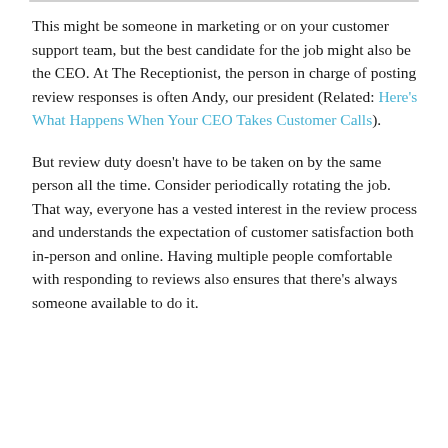This might be someone in marketing or on your customer support team, but the best candidate for the job might also be the CEO. At The Receptionist, the person in charge of posting review responses is often Andy, our president (Related: Here's What Happens When Your CEO Takes Customer Calls).
But review duty doesn't have to be taken on by the same person all the time. Consider periodically rotating the job. That way, everyone has a vested interest in the review process and understands the expectation of customer satisfaction both in-person and online. Having multiple people comfortable with responding to reviews also ensures that there's always someone available to do it.